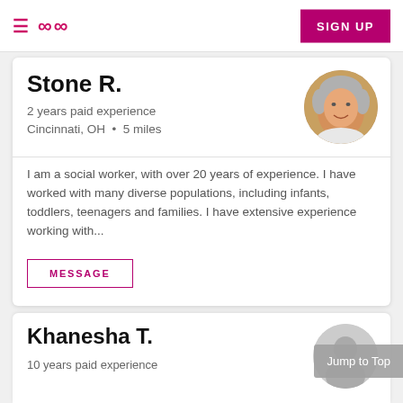≡  ∞∞  SIGN UP
Stone R.
2 years paid experience
Cincinnati, OH  · 5 miles
[Figure (photo): Circular profile photo of Stone R., an older woman with short gray hair, smiling.]
I am a social worker, with over 20 years of experience. I have worked with many diverse populations, including infants, toddlers, teenagers and families. I have extensive experience working with...
MESSAGE
Khanesha T.
10 years paid experience
[Figure (photo): Circular silhouette placeholder photo for Khanesha T.]
Jump to Top